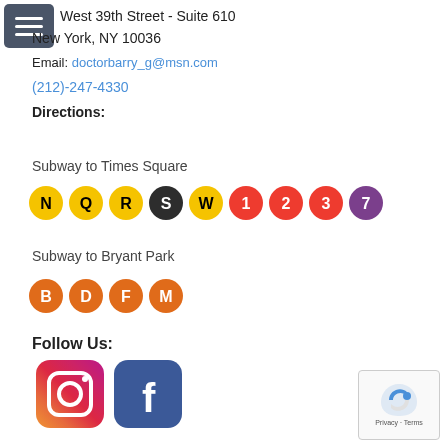West 39th Street - Suite 610
New York, NY 10036
Email: doctorbarry_g@msn.com
(212)-247-4330
Directions:
Subway to Times Square
[Figure (infographic): NYC subway line circles: N, Q, R, S, W (yellow/black), 1, 2, 3 (red), 7 (purple)]
Subway to Bryant Park
[Figure (infographic): NYC subway line circles: B, D, F, M (orange)]
Follow Us:
[Figure (logo): Instagram logo icon]
[Figure (logo): Facebook logo icon]